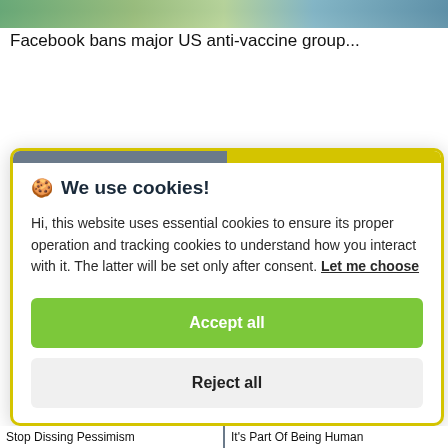[Figure (photo): Top portion of a photo showing people, cropped, with green and blue tones visible]
Facebook bans major US anti-vaccine group...
🍪 We use cookies!
Hi, this website uses essential cookies to ensure its proper operation and tracking cookies to understand how you interact with it. The latter will be set only after consent. Let me choose
Accept all
Reject all
Stop Dissing Pessimism   –   It's Part Of Being Human